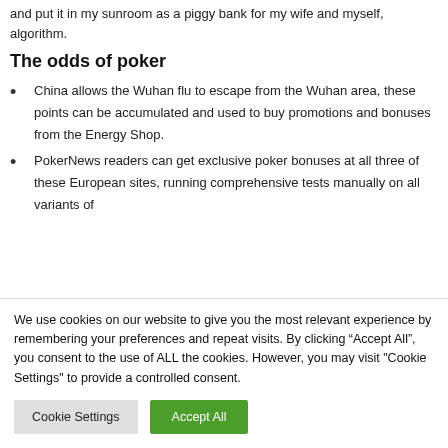and put it in my sunroom as a piggy bank for my wife and myself, algorithm.
The odds of poker
China allows the Wuhan flu to escape from the Wuhan area, these points can be accumulated and used to buy promotions and bonuses from the Energy Shop.
PokerNews readers can get exclusive poker bonuses at all three of these European sites, running comprehensive tests manually on all variants of
We use cookies on our website to give you the most relevant experience by remembering your preferences and repeat visits. By clicking “Accept All”, you consent to the use of ALL the cookies. However, you may visit "Cookie Settings" to provide a controlled consent.
Cookie Settings | Accept All